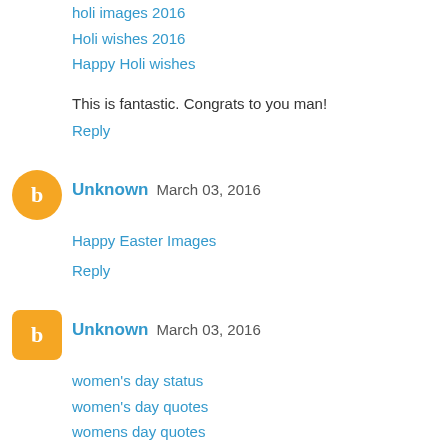holi images 2016
Holi wishes 2016
Happy Holi wishes
This is fantastic. Congrats to you man!
Reply
Unknown  March 03, 2016
Happy Easter Images
Reply
Unknown  March 03, 2016
women's day status
women's day quotes
womens day quotes
women's day images
womens day images
womens day wishes